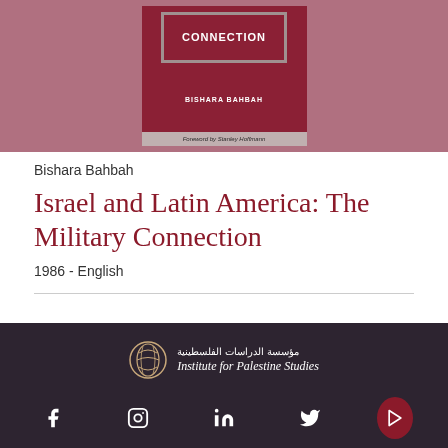[Figure (illustration): Book cover of 'Israel and Latin America: The Military Connection' by Bishara Bahbah, with foreword by Stanley Hoffmann. Dark red cover with title text and author name.]
Bishara Bahbah
Israel and Latin America: The Military Connection
1986 - English
[Figure (logo): Institute for Palestine Studies logo with Arabic text above and English text below, alongside a decorative emblem.]
Social media icons: Facebook, Instagram, LinkedIn, Twitter, YouTube